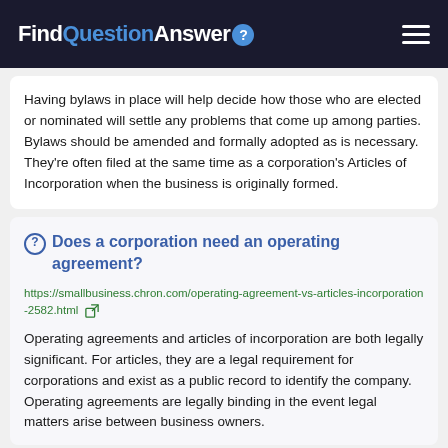FindQuestionAnswer
Having bylaws in place will help decide how those who are elected or nominated will settle any problems that come up among parties. Bylaws should be amended and formally adopted as is necessary. They're often filed at the same time as a corporation's Articles of Incorporation when the business is originally formed.
Does a corporation need an operating agreement?
https://smallbusiness.chron.com/operating-agreement-vs-articles-incorporation-2582.html
Operating agreements and articles of incorporation are both legally significant. For articles, they are a legal requirement for corporations and exist as a public record to identify the company. Operating agreements are legally binding in the event legal matters arise between business owners.